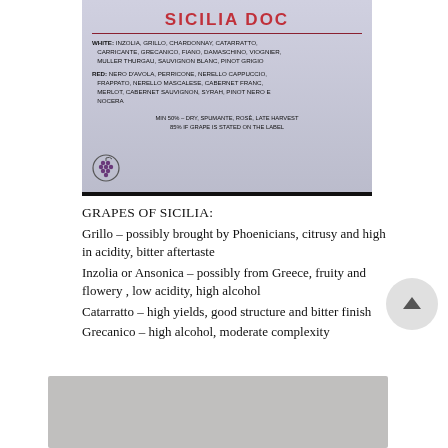[Figure (photo): Projected slide showing Sicilia DOC wine appellation information including white and red grape varieties permitted under the denomination]
GRAPES OF SICILIA:
Grillo – possibly brought by Phoenicians, citrusy and high in acidity, bitter aftertaste
Inzolia or Ansonica – possibly from Greece, fruity and flowery , low acidity, high alcohol
Catarratto – high yields, good structure and bitter finish
Grecanico – high alcohol, moderate complexity
[Figure (photo): Partial view of another slide or image at the bottom of the page, mostly obscured]